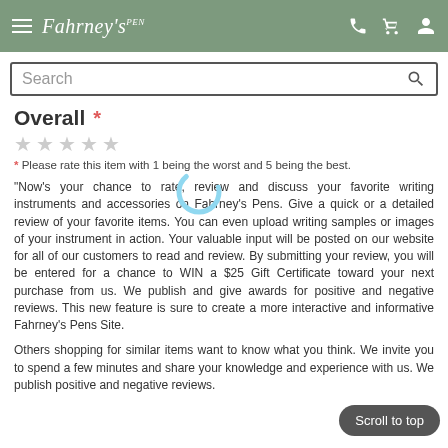Fahrney's Pens
Search
Overall *
* Please rate this item with 1 being the worst and 5 being the best.
"Now's your chance to rate, review and discuss your favorite writing instruments and accessories on Fahrney's Pens. Give a quick or a detailed review of your favorite items. You can even upload writing samples or images of your instrument in action. Your valuable input will be posted on our website for all of our customers to read and review. By submitting your review, you will be entered for a chance to WIN a $25 Gift Certificate toward your next purchase from us. We publish and give awards for positive and negative reviews. This new feature is sure to create a more interactive and informative Fahrney's Pens Site.
Others shopping for similar items want to know what you think. We invite you to spend a few minutes and share your knowledge and experience with us. We publish positive and negative reviews.
Scroll to top